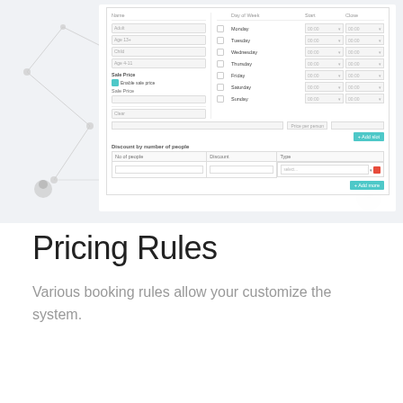[Figure (screenshot): Screenshot of a booking/pricing rules UI panel showing day-of-week time settings (Monday through Sunday), sale price options, discount by number of people table, and action buttons. Background has a network graph decorative pattern.]
Pricing Rules
Various booking rules allow your customize the system.